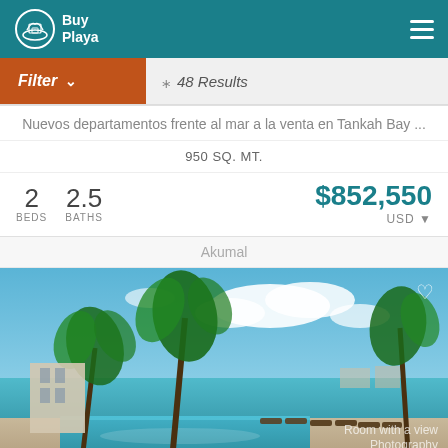BuyPlaya
Filter  48 Results
Nuevos departamentos frente al mar a la venta en Tankah Bay ...
950 SQ. MT.
2 BEDS  2.5 BATHS  $852,550 USD
Akumal
[Figure (photo): Beachfront property in Akumal with pool, palm trees, lounge chairs, and turquoise Caribbean sea in background. Watermark reads 'Room with a view Photography'.]